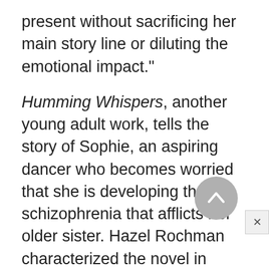present without sacrificing her main story line or diluting the emotional impact."
Humming Whispers, another young adult work, tells the story of Sophie, an aspiring dancer who becomes worried that she is developing the schizophrenia that afflicts her older sister. Hazel Rochman characterized the novel in Booklist as "a bleak contemporary story of suffering, lit with
the hope of people who take care of